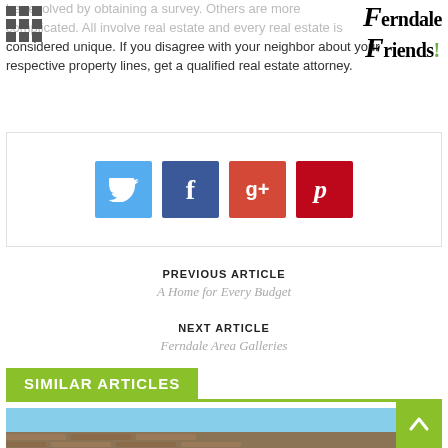Ferndale Friends!
be resolved by obtaining a survey. Others are more complicated. All involve real estate and every real estate is considered unique. If you disagree with your neighbor about your respective property lines, get a qualified real estate attorney.
[Figure (other): Social sharing buttons: Twitter (blue bird), Facebook (blue f), Google+ (red g+), Pinterest (red p)]
PREVIOUS ARTICLE
A Home for Every Budget
NEXT ARTICLE
Ferndale Area Galleries
SIMILAR ARTICLES
[Figure (photo): Bottom portion of a building with brick exterior and blue sky]